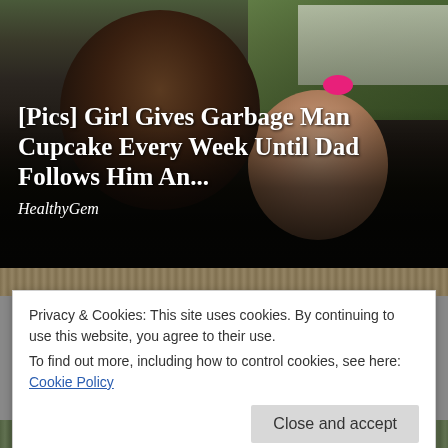[Figure (photo): A man wearing sunglasses and a black cap smiling next to a young girl with a pink bow in her hair. Background shows a vehicle and green outdoor scenery.]
[Pics] Girl Gives Garbage Man Cupcake Every Week Until Dad Follows Him An...
HealthyGem
Privacy & Cookies: This site uses cookies. By continuing to use this website, you agree to their use.
To find out more, including how to control cookies, see here: Cookie Policy